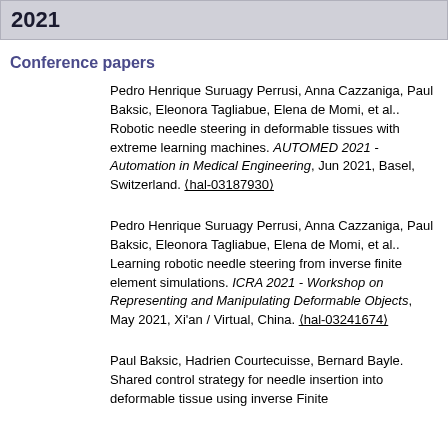2021
Conference papers
Pedro Henrique Suruagy Perrusi, Anna Cazzaniga, Paul Baksic, Eleonora Tagliabue, Elena de Momi, et al.. Robotic needle steering in deformable tissues with extreme learning machines. AUTOMED 2021 - Automation in Medical Engineering, Jun 2021, Basel, Switzerland. (hal-03187930)
Pedro Henrique Suruagy Perrusi, Anna Cazzaniga, Paul Baksic, Eleonora Tagliabue, Elena de Momi, et al.. Learning robotic needle steering from inverse finite element simulations. ICRA 2021 - Workshop on Representing and Manipulating Deformable Objects, May 2021, Xi'an / Virtual, China. (hal-03241674)
Paul Baksic, Hadrien Courtecuisse, Bernard Bayle. Shared control strategy for needle insertion into deformable tissue using inverse Finite